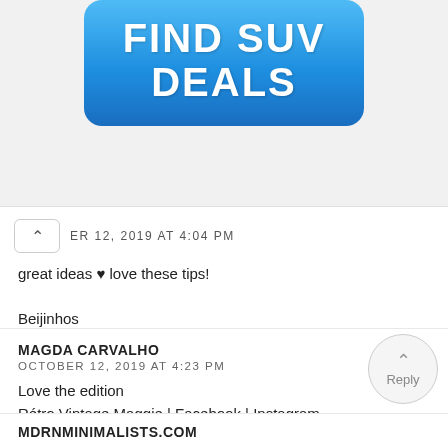[Figure (other): Blue gradient button with bold white text reading FIND SUV DEALS]
ER 12, 2019 AT 4:04 PM
great ideas ♥ love these tips!

Bejinhos
n. // www.fashionjacket.com.br
Reply
MAGDA CARVALHO
OCTOBER 12, 2019 AT 4:23 PM
Love the edition
Rétro Vintage Maggie | Facebook | Instagram
Reply
MDRNMINIMALISTS.COM